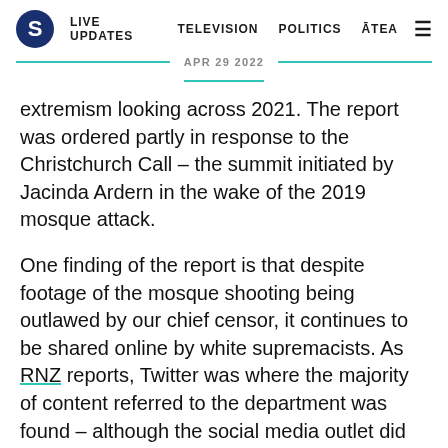S  LIVE UPDATES  TELEVISION  POLITICS  ĀTEA  ☰
APR 29 2022
extremism looking across 2021. The report was ordered partly in response to the Christchurch Call – the summit initiated by Jacinda Ardern in the wake of the 2019 mosque attack.
One finding of the report is that despite footage of the mosque shooting being outlawed by our chief censor, it continues to be shared online by white supremacists. As RNZ reports, Twitter was where the majority of content referred to the department was found – although the social media outlet did remove the content flagged as offensive.
Large companies, including Twitter and other